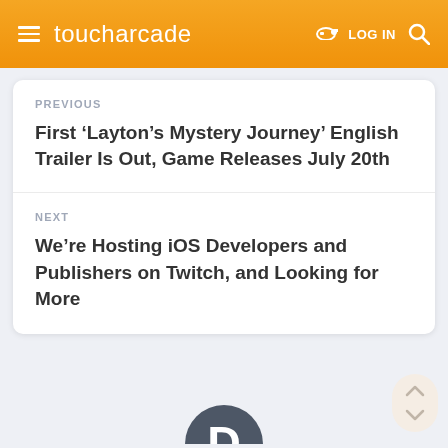toucharcade  LOG IN
PREVIOUS
First ‘Layton’s Mystery Journey’ English Trailer Is Out, Game Releases July 20th
NEXT
We’re Hosting iOS Developers and Publishers on Twitch, and Looking for More
[Figure (logo): Disqus logo partial circle with letter D, dark gray color, partially visible at bottom of page]